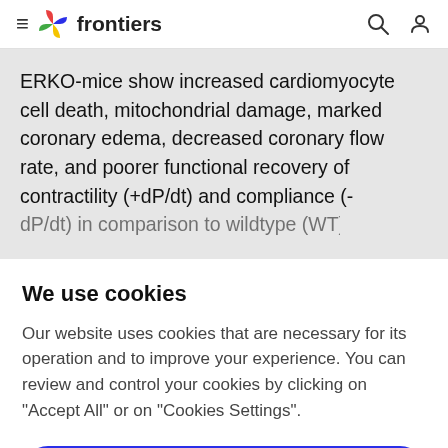≡ frontiers
ERKO-mice show increased cardiomyocyte cell death, mitochondrial damage, marked coronary edema, decreased coronary flow rate, and poorer functional recovery of contractility (+dP/dt) and compliance (-dP/dt) in comparison to wildtype (WT) mice (95, 106).
We use cookies
Our website uses cookies that are necessary for its operation and to improve your experience. You can review and control your cookies by clicking on "Accept All" or on "Cookies Settings".
Accept Cookies
Cookies Settings